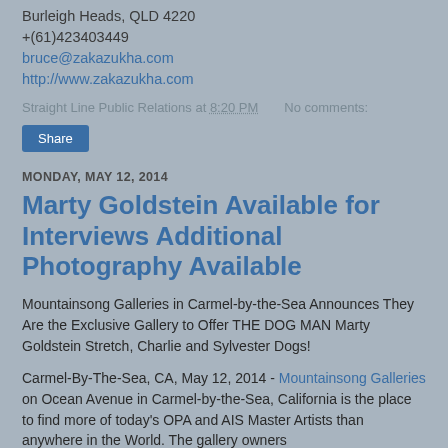Burleigh Heads, QLD 4220
+(61)423403449
bruce@zakazukha.com
http://www.zakazukha.com
Straight Line Public Relations at 8:20 PM    No comments:
Share
MONDAY, MAY 12, 2014
Marty Goldstein Available for Interviews Additional Photography Available
Mountainsong Galleries in Carmel-by-the-Sea Announces They Are the Exclusive Gallery to Offer THE DOG MAN Marty Goldstein Stretch, Charlie and Sylvester Dogs!
Carmel-By-The-Sea, CA, May 12, 2014 - Mountainsong Galleries on Ocean Avenue in Carmel-by-the-Sea, California is the place to find more of today's OPA and AIS Master Artists than anywhere in the World. The gallery owners